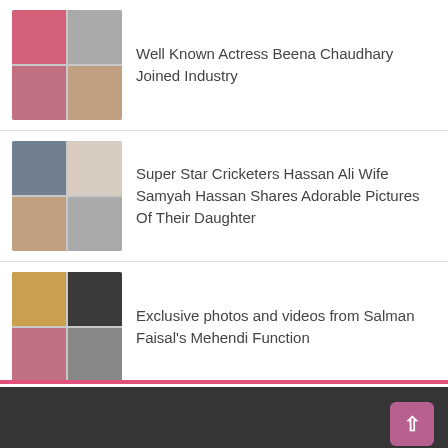Well Known Actress Beena Chaudhary Joined Industry
Super Star Cricketers Hassan Ali Wife Samyah Hassan Shares Adorable Pictures Of Their Daughter
Exclusive photos and videos from Salman Faisal's Mehendi Function
Pakistani Top Cricketer Imad Wasim Current Pictures With Wife